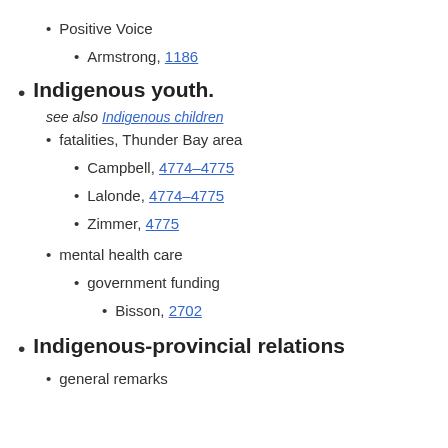Positive Voice
Armstrong, 1186
Indigenous youth. see also Indigenous children
fatalities, Thunder Bay area
Campbell, 4774–4775
Lalonde, 4774–4775
Zimmer, 4775
mental health care
government funding
Bisson, 2702
Indigenous-provincial relations
general remarks